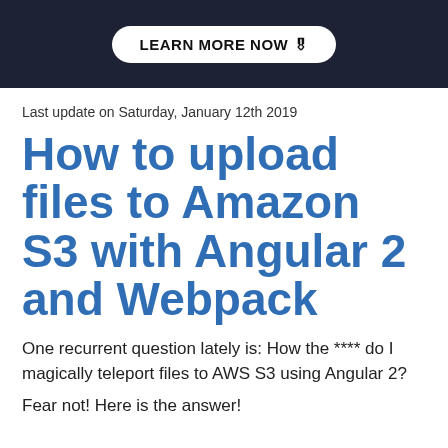LEARN MORE NOW 🎓
Last update on Saturday, January 12th 2019
How to upload files to Amazon S3 with Angular 2 and Webpack
One recurrent question lately is: How the **** do I magically teleport files to AWS S3 using Angular 2?
Fear not! Here is the answer!